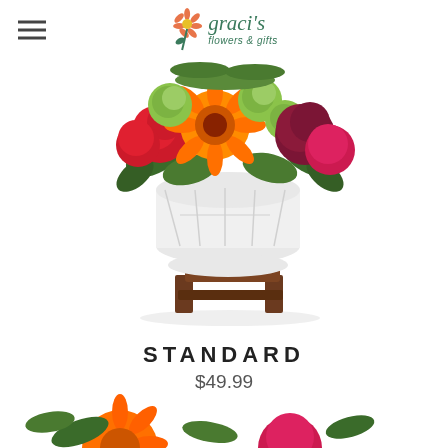[Figure (logo): Graci's flowers & gifts logo with flower icon]
[Figure (photo): Colorful flower arrangement in white geometric vase on a wooden stand, featuring orange gerbera daisies, red carnations, pink flowers, green chrysanthemums, and dark red blooms]
STANDARD
$49.99
ADD TO CART
[Figure (photo): Partial view of another flower arrangement visible at the bottom of the page]